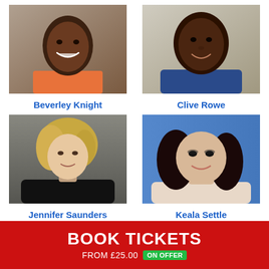[Figure (photo): Headshot of Beverley Knight, a smiling Black woman in an orange top]
[Figure (photo): Headshot of Clive Rowe, a smiling Black man in a blue jacket]
Beverley Knight
Clive Rowe
[Figure (photo): Headshot of Jennifer Saunders, a blonde woman in black]
[Figure (photo): Headshot of Keala Settle, a woman with long dark hair on blue background]
Jennifer Saunders
Keala Settle
BOOK TICKETS
FROM £25.00  ON OFFER